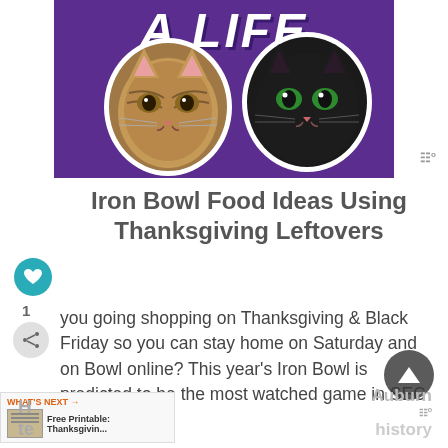[Figure (photo): Purple banner with 'A LIFE' text in large italic white letters, with two cats (a tabby and a black cat) displayed as circular cutouts with white borders on a purple background]
Iron Bowl Food Ideas Using Thanksgiving Leftovers
you going shopping on Thanksgiving & Black Friday so you can stay home on Saturday and on Bowl online? This year's Iron Bowl is predicted to be the most watched game in SEC